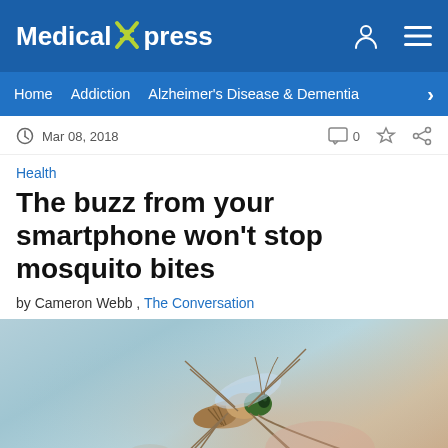Medical Xpress
Home  Addiction  Alzheimer's Disease & Dementia
Mar 08, 2018
Health
The buzz from your smartphone won't stop mosquito bites
by Cameron Webb , The Conversation
[Figure (photo): Close-up macro photograph of a mosquito on a light blue background]